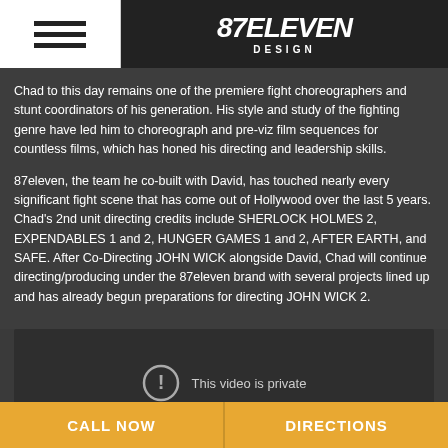87eleven Design
Chad to this day remains one of the premiere fight choreographers and stunt coordinators of his generation. His style and study of the fighting genre have led him to choreograph and pre-viz film sequences for countless films, which has honed his directing and leadership skills.
87eleven, the team he co-built with David, has touched nearly every significant fight scene that has come out of Hollywood over the last 5 years. Chad's 2nd unit directing credits include SHERLOCK HOLMES 2, EXPENDABLES 1 and 2, HUNGER GAMES 1 and 2, AFTER EARTH, and SAFE. After Co-Directing JOHN WICK alongside David, Chad will continue directing/producing under the 87eleven brand with several projects lined up and has already begun preparations for directing JOHN WICK 2.
[Figure (other): Video player showing 'This video is private' message with exclamation circle icon]
CALL NOW | DIRECTIONS